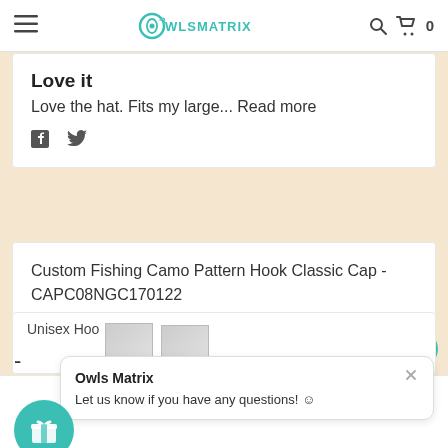Owls Matrix — navigation header with menu, logo, search, cart
Love it
Love the hat. Fits my large... Read more
f  (twitter bird icon)
Custom Fishing Camo Pattern Hook Classic Cap - CAPC08NGC170122
J R
Verified  22  ★★★★★